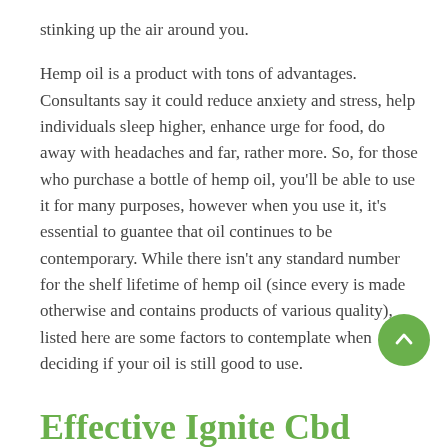stinking up the air around you.
Hemp oil is a product with tons of advantages. Consultants say it could reduce anxiety and stress, help individuals sleep higher, enhance urge for food, do away with headaches and far, rather more. So, for those who purchase a bottle of hemp oil, you'll be able to use it for many purposes, however when you use it, it's essential to guantee that oil continues to be contemporary. While there isn't any standard number for the shelf lifetime of hemp oil (since every is made otherwise and contains products of various quality), listed here are some factors to contemplate when deciding if your oil is still good to use.
Effective Ignite Cbd